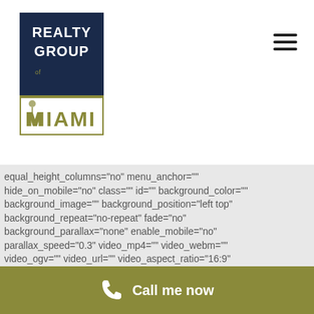[Figure (logo): Realty Group of Miami logo — dark navy rectangle with white text REALTY GROUP and olive/gold Miami icon below]
equal_height_columns="no" menu_anchor=""
hide_on_mobile="no" class="" id="" background_color=""
background_image="" background_position="left top"
background_repeat="no-repeat" fade="no"
background_parallax="none" enable_mobile="no"
parallax_speed="0.3" video_mp4="" video_webm=""
video_ogv="" video_url="" video_aspect_ratio="16:9"
video_loop="yes" video_mute="yes" video_preview_image=""
border_size="0px" border_color="" border_style="solid"
margin_top="30px" margin_bottom="" padding_top="0px"
padding_right="0" padding_bottom="0px" padding_left="0"]
[fusion_builder_row][fusion_builder_column type="3_4"
Call me now